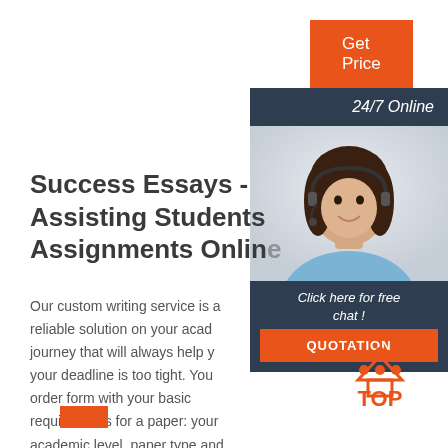Get Price
24/7 Online
[Figure (photo): Woman with headset smiling, customer service agent photo]
Click here for free chat !
QUOTATION
Success Essays - Assisting Students Assignments Online
Our custom writing service is a reliable solution on your academic journey that will always help you if your deadline is too tight. You fill in the order form with your basic requirements for a paper: your academic level, paper type and format, the number of pages and sources, discipline, and deadline.
[Figure (logo): TOP badge logo with orange dots above text]